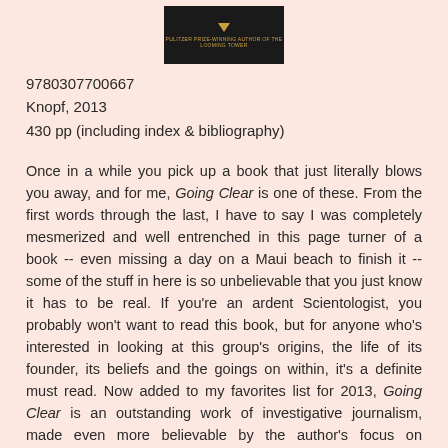[Figure (other): Book cover image with dark background, small downward triangle in gold color, and small gold text below it reading 'PULITZER PRIZE-WINNING AUTHOR OF THE LOOMING TOWER']
9780307700667
Knopf, 2013
430 pp (including index & bibliography)
Once in a while you pick up a book that just literally blows you away, and for me, Going Clear is one of these.   From the first words through the last, I have to say I was completely mesmerized and well entrenched in this page turner of a book -- even missing a day on a Maui beach to finish it -- some of the stuff in here is so unbelievable that you just know it has to be real.   If you're an ardent Scientologist, you probably won't want to read this book, but for anyone who's interested in looking at this group's origins, the life of its founder, its beliefs and the goings on within, it's a definite must read.  Now added to  my favorites list for 2013, Going Clear is an outstanding work of investigative journalism, made even more believable by the author's focus on maintaining a balanced presentation, including comments from the Church of Scientology's leaders, attorneys, and